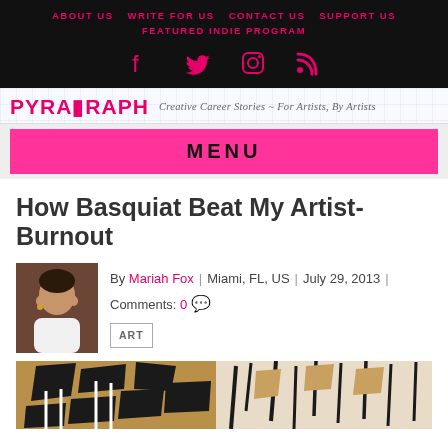ABOUT US | WRITE FOR US | CONTACT US | SUPPORT US | FEATURED INDIE PROGRAM
[Figure (logo): PYRAGRAPH logo with tagline: Creative Career Stories ~ For Artists, By Artists]
MENU
How Basquiat Beat My Artist-Burnout
By Mariah Fox | Miami, FL, US | July 29, 2013 | Comments: 0
ART
[Figure (photo): Abstract art image with brown, black, and white brushwork, appears to be artwork in the style of Basquiat]